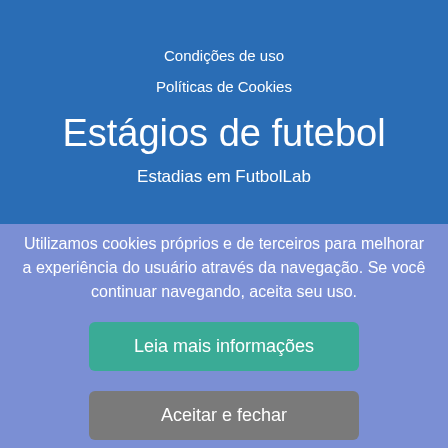Condições de uso
Políticas de Cookies
Estágios de futebol
Estadias em FutbolLab
Utilizamos cookies próprios e de terceiros para melhorar a experiência do usuário através da navegação. Se você continuar navegando, aceita seu uso.
Leia mais informações
Aceitar e fechar